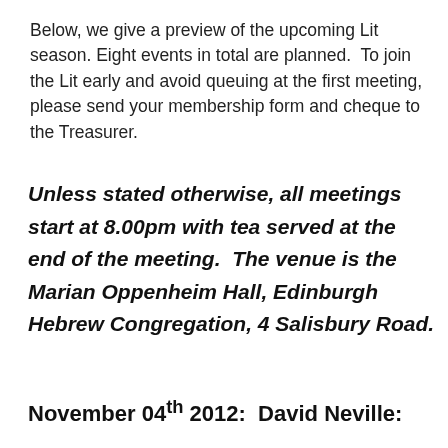Below, we give a preview of the upcoming Lit season. Eight events in total are planned. To join the Lit early and avoid queuing at the first meeting, please send your membership form and cheque to the Treasurer.
Unless stated otherwise, all meetings start at 8.00pm with tea served at the end of the meeting. The venue is the Marian Oppenheim Hall, Edinburgh Hebrew Congregation, 4 Salisbury Road.
November 04th 2012: David Neville: